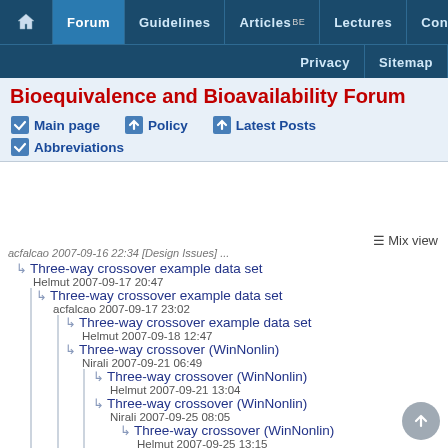[Figure (screenshot): Website navigation bar with dark blue background, showing Home icon, Forum (active/highlighted), Guidelines, Articles BE, Lectures, Contact in top row; Privacy, Sitemap in second row]
Bioequivalence and Bioavailability Forum
Main page | Policy | Latest Posts | Abbreviations
Mix view
acfalcao 2007-09-16 22:34 [Design Issues] ...
Three-way crossover example data set
Helmut 2007-09-17 20:47
Three-way crossover example data set
acfalcao 2007-09-17 23:02
Three-way crossover example data set
Helmut 2007-09-18 12:47
Three-way crossover (WinNonlin)
Nirali 2007-09-21 06:49
Three-way crossover (WinNonlin)
Helmut 2007-09-21 13:04
Three-way crossover (WinNonlin)
Nirali 2007-09-25 08:05
Three-way crossover (WinNonlin)
Helmut 2007-09-25 13:15
Three-way crossover example data set
Irene_I 2018-06-07 11:09